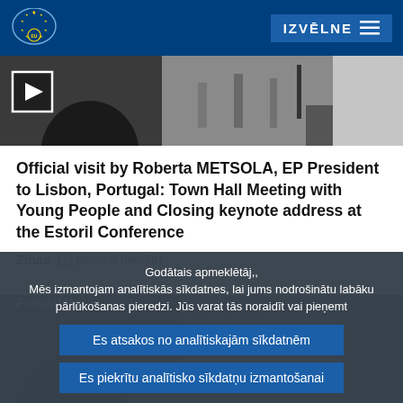European Parliament — IZVĒLNE
[Figure (screenshot): Video thumbnail showing people at a conference, with a play button overlay in the top-left corner]
Official visit by Roberta METSOLA, EP President to Lisbon, Portugal: Town Hall Meeting with Young People and Closing keynote address at the Estoril Conference
Ziņas  pirms 3 dienām
Godātais apmeklētāj,,
Mēs izmantojam analītiskās sīkdatnes, lai jums nodrošinātu labāku pārlūkošanas pieredzi. Jūs varat tās noraidīt vai pieņemt
Es atsakos no analītiskajām sīkdatnēm
Es piekrītu analītisko sīkdatņu izmantošanai
Fotoattēls
Ar papildu informāciju par citām mūsu izmantotajām sīkdatnēm un serveru ierakstiem aicinām iepazīties sadalās par personas datu aizsardzības politiku, , mūsu sīkdatņu politiku un sīkdatņu sarakstu..